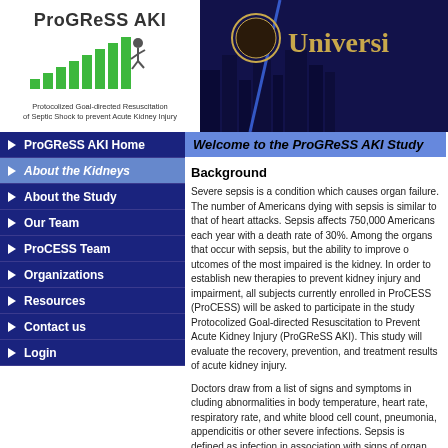[Figure (logo): ProGReSS AKI logo with running figure on bar chart graphic and subtitle 'Protocolized Goal-directed Resuscitation of Septic Shock to prevent Acute Kidney Injury']
[Figure (photo): University banner with dark blue city skyline at night and gold 'Universi...' text with seal]
ProGReSS AKI Home
About the Kidneys
About the Study
Our Team
ProCESS Team
Organizations
Resources
Contact us
Login
Welcome to the ProGReSS AKI Study
Background
Severe sepsis is a condition which causes organ failure. The number of Americans dying with sepsis is similar to that of heart attacks. Sepsis affects 750,000 Americans each year with a death rate of 30%. Among the organs that occur with sepsis, but the ability to improve outcomes of the most impaired is the kidney. In order to establish new therapies to prevent kidney injury and impairment, all subjects currently enrolled in ProCESS (ProCESS) will be asked to participate in the study Protocolized Goal-directed Resuscitation to Prevent Acute Kidney Injury (ProGReSS AKI). This study will evaluate the recovery, prevention, and treatment results of acute kidney injury.
Doctors draw from a list of signs and symptoms including abnormalities in body temperature, heart rate, respiratory rate, and white blood cell count, pneumonia, appendicitis or other severe infections. Sepsis is defined as infection in association with signs of organ dysfunction (including low blood pressure). Simple treatments like fluids are often neglected but are proven to reduce mortality. Patients who developed clinical signs of infection, sepsis, were enrolled in the ProCESS study. While several in-hospital assessments were performed, the ProGReSS AKI study will follow ProCESS subjects to better understand the effects of sepsis particularly on the kidney and how they recover.